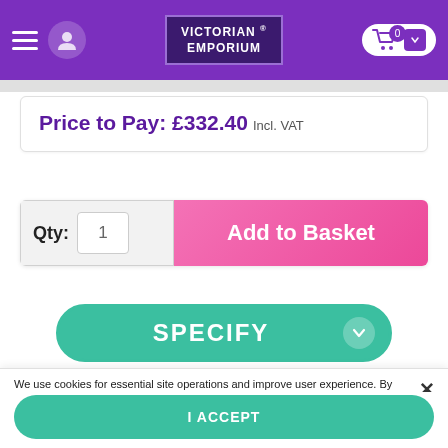Victorian Emporium
Price to Pay: £332.40 incl. VAT
Qty: 1  Add to Basket
SPECIFY
We use cookies for essential site operations and improve user experience. By using our website you consent to all cookies in accordance with our Cookie Policy. Read more
SHOW SETTINGS
I ACCEPT